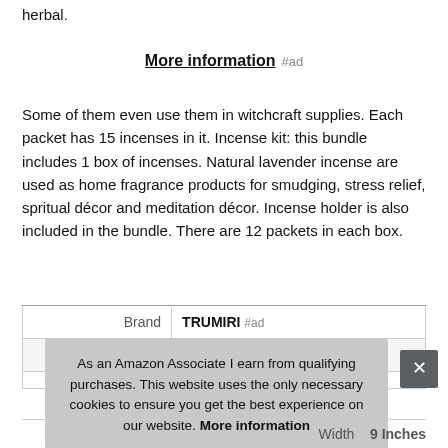herbal.
More information #ad
Some of them even use them in witchcraft supplies. Each packet has 15 incenses in it. Incense kit: this bundle includes 1 box of incenses. Natural lavender incense are used as home fragrance products for smudging, stress relief, spritual décor and meditation décor. Incense holder is also included in the bundle. There are 12 packets in each box.
|  |  |
| --- | --- |
| Brand | TRUMIRI #ad |
| Ma... |  |
| Width | 9 Inches |
As an Amazon Associate I earn from qualifying purchases. This website uses the only necessary cookies to ensure you get the best experience on our website. More information